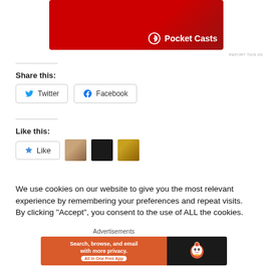[Figure (screenshot): Pocket Casts advertisement banner with red background and white Pocket Casts logo]
REPORT THIS AD
Share this:
Twitter
Facebook
Like this:
Like
We use cookies on our website to give you the most relevant experience by remembering your preferences and repeat visits. By clicking “Accept”, you consent to the use of ALL the cookies.
Advertisements
[Figure (screenshot): DuckDuckGo advertisement: Search, browse, and email with more privacy. All in One Free App]